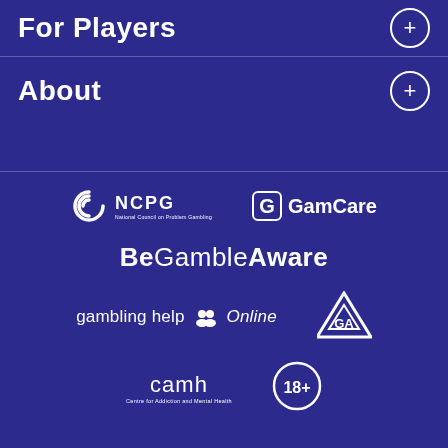For Players
About
[Figure (logo): NCPG logo - National Council on Problem Gambling spiral icon with NCPG text]
[Figure (logo): GamCare logo - G icon with GamCare text]
[Figure (logo): BeGambleAware logo - text with Be in bold and GambleAware in mixed weight]
[Figure (logo): gambling help Online logo with people icon]
[Figure (logo): GA (Gamblers Anonymous) triangle logo]
[Figure (logo): camh - Centre for Addiction and Mental Health logo]
[Figure (logo): 18+ age restriction circle badge]
Gambling Addiction   Disclaimer